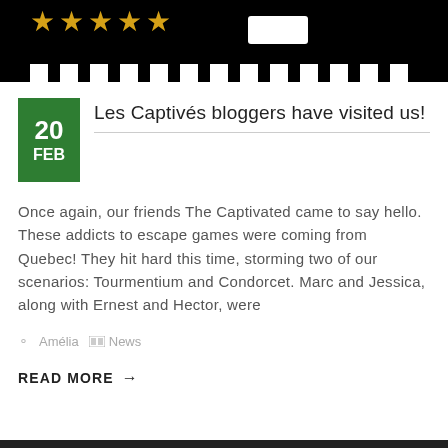[Figure (screenshot): Top banner image with black background, gold/orange star ratings, a white button box, and a pixelated white strip along the bottom edge]
Les Captivés bloggers have visited us!
Once again, our friends The Captivated came to say hello. These addicts to escape games were coming from Quebec! They hit hard this time, storming two of our scenarios: Tourmentium and Condorcet. Marc and Jessica, along with Ernest and Hector, were
Amélia   News
READ MORE →